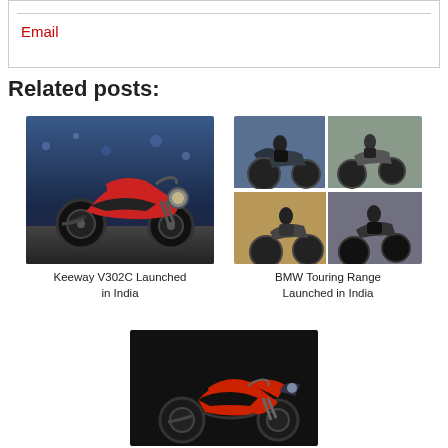Email
Related posts:
[Figure (photo): Keeway V302C motorcycle, red and black cruiser style, city background at dusk]
Keeway V302C Launched in India
[Figure (photo): BMW Touring Range motorcycles, 2x2 grid of photos showing riders on touring bikes]
BMW Touring Range Launched in India
[Figure (photo): Red and black naked sport motorcycle on dark background, partial view]